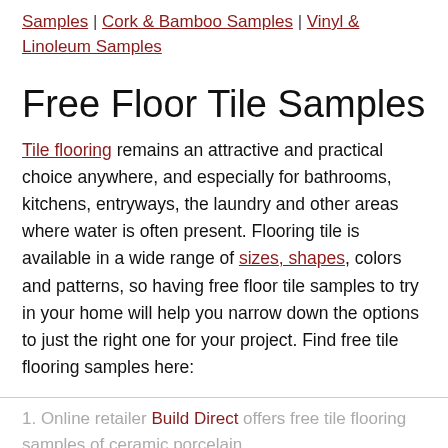Samples | Cork & Bamboo Samples | Vinyl & Linoleum Samples
Free Floor Tile Samples
Tile flooring remains an attractive and practical choice anywhere, and especially for bathrooms, kitchens, entryways, the laundry and other areas where water is often present. Flooring tile is available in a wide range of sizes, shapes, colors and patterns, so having free floor tile samples to try in your home will help you narrow down the options to just the right one for your project. Find free tile flooring samples here:
1. Online retailer Build Direct offers free tile flooring samples of ceramic porcelain